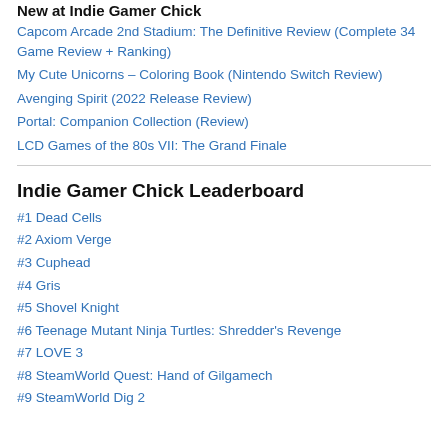New at Indie Gamer Chick
Capcom Arcade 2nd Stadium: The Definitive Review (Complete 34 Game Review + Ranking)
My Cute Unicorns – Coloring Book (Nintendo Switch Review)
Avenging Spirit (2022 Release Review)
Portal: Companion Collection (Review)
LCD Games of the 80s VII: The Grand Finale
Indie Gamer Chick Leaderboard
#1 Dead Cells
#2 Axiom Verge
#3 Cuphead
#4 Gris
#5 Shovel Knight
#6 Teenage Mutant Ninja Turtles: Shredder's Revenge
#7 LOVE 3
#8 SteamWorld Quest: Hand of Gilgamech
#9 SteamWorld Dig 2